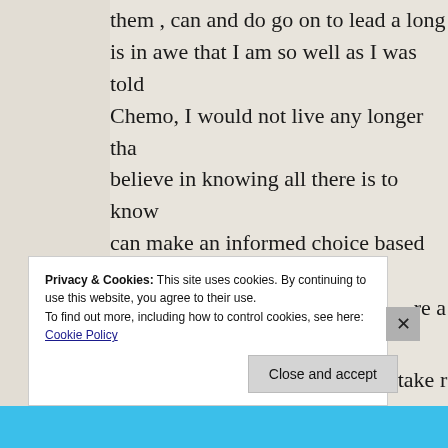them , can and do go on to lead a long is in awe that I am so well as I was told Chemo, I would not live any longer tha believe in knowing all there is to know can make an informed choice based or
Most people are only too happy to give someone else to cure them, they take r The brewing and taking of herbs, orga in control of your own happiness, deal essential.  the cancer is a symptom of t of the cause and the symptom disappe re a
Privacy & Cookies: This site uses cookies. By continuing to use this website, you agree to their use.
To find out more, including how to control cookies, see here: Cookie Policy